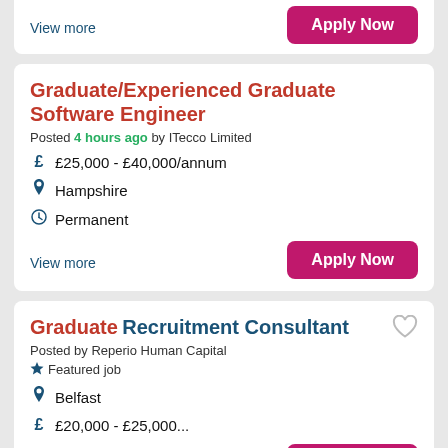Graduate/Experienced Graduate Software Engineer
Posted 4 hours ago by ITecco Limited
£25,000 - £40,000/annum
Hampshire
Permanent
View more
Graduate Recruitment Consultant
Posted by Reperio Human Capital
Featured job
Belfast
£20,000 - £25,000...
View more